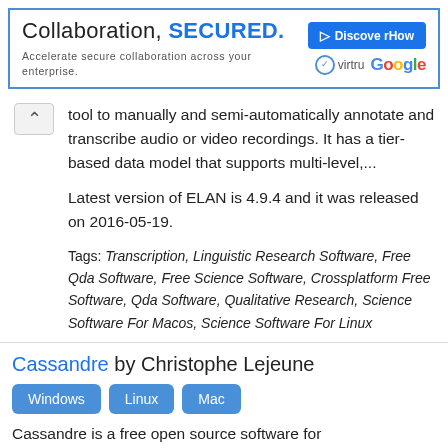[Figure (other): Advertisement banner for Virtru and Google collaboration security product. Text: 'Collaboration, SECURED.' and 'Accelerate secure collaboration across your enterprise.' with a 'Discover How' button and Virtru + Google logos.]
tool to manually and semi-automatically annotate and transcribe audio or video recordings. It has a tier-based data model that supports multi-level,...
Latest version of ELAN is 4.9.4 and it was released on 2016-05-19.
Tags: Transcription, Linguistic Research Software, Free Qda Software, Free Science Software, Crossplatform Free Software, Qda Software, Qualitative Research, Science Software For Macos, Science Software For Linux
Cassandre by Christophe Lejeune
Windows  Linux  Mac
Cassandre is a free open source software for